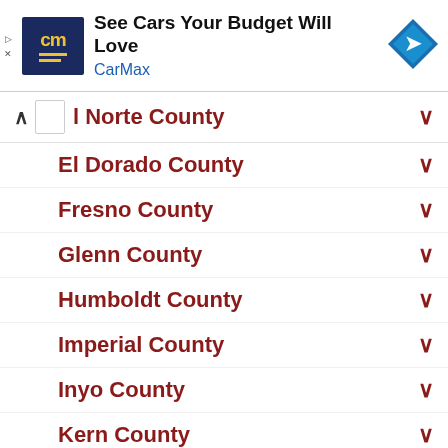[Figure (other): CarMax advertisement banner with logo, headline 'See Cars Your Budget Will Love', CarMax brand name in blue, and a blue diamond navigation arrow icon]
l Norte County
El Dorado County
Fresno County
Glenn County
Humboldt County
Imperial County
Inyo County
Kern County
Kings County
Lake County